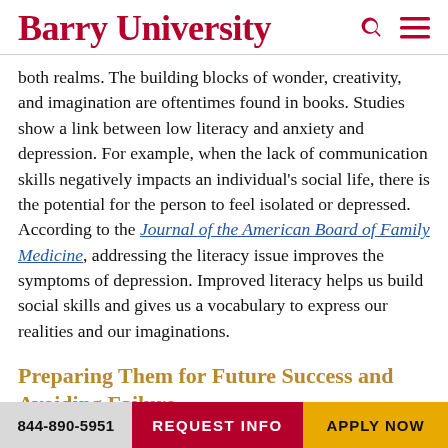Barry University
both realms. The building blocks of wonder, creativity, and imagination are oftentimes found in books. Studies show a link between low literacy and anxiety and depression. For example, when the lack of communication skills negatively impacts an individual's social life, there is the potential for the person to feel isolated or depressed. According to the Journal of the American Board of Family Medicine, addressing the literacy issue improves the symptoms of depression. Improved literacy helps us build social skills and gives us a vocabulary to express our realities and our imaginations.
Preparing Them for Future Success and Avoiding Failure
Whether or not a child achieves proficient reading skills
844-890-5951   REQUEST INFO   APPLY NOW